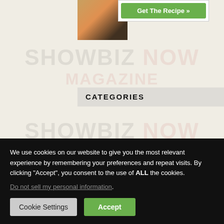[Figure (screenshot): Website screenshot showing Showbiz Now Magazine page with watermark logo, a recipe button, photo strip, categories section, and list items Books, Business, Events]
CATEGORIES
Books
Business
Events
We use cookies on our website to give you the most relevant experience by remembering your preferences and repeat visits. By clicking “Accept”, you consent to the use of ALL the cookies.
Do not sell my personal information.